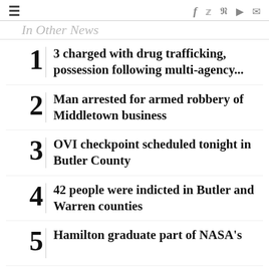≡  f  🐦  p  reddit  ✉
In Other News
3 charged with drug trafficking, possession following multi-agency...
Man arrested for armed robbery of Middletown business
OVI checkpoint scheduled tonight in Butler County
42 people were indicted in Butler and Warren counties
Hamilton graduate part of NASA's